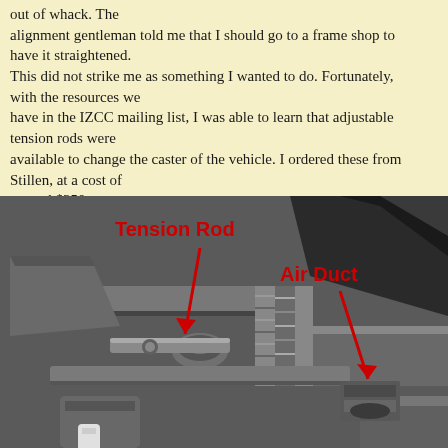out of whack. The alignment gentleman told me that I should go to a frame shop to have it straightened. This did not strike me as something I wanted to do. Fortunately, with the resources we have in the IZCC mailing list, I was able to learn that adjustable tension rods were available to change the caster of the vehicle. I ordered these from Stillen, at a cost of around $350.
[Figure (photo): Undercarriage photo of a vehicle showing the Tension Rod and Air Duct, with red arrows and bold red labels pointing to each component.]